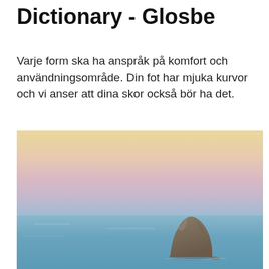Dictionary - Glosbe
Varje form ska ha anspråk på komfort och användningsområde. Din fot har mjuka kurvor och vi anser att dina skor också bör ha det.
[Figure (photo): Photograph of a large rock formation rising from a calm blue sea, with a pastel sky transitioning from yellow at the top to soft pink and then to the blue water horizon.]